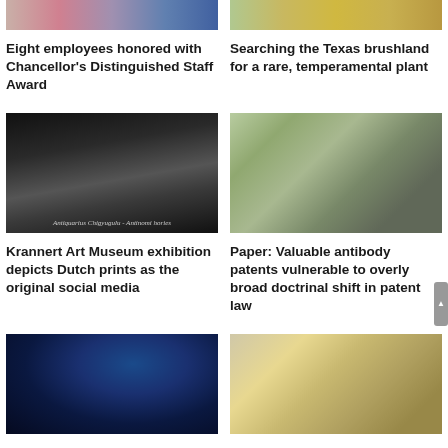[Figure (photo): Group photo of employees honored with Chancellor's Distinguished Staff Award]
[Figure (photo): Texas brushland landscape with rare plant]
Eight employees honored with Chancellor's Distinguished Staff Award
Searching the Texas brushland for a rare, temperamental plant
[Figure (photo): Black and white Dutch print artwork from Krannert Art Museum exhibition]
[Figure (photo): Portrait of a young man in suit, subject of antibody patents paper]
Krannert Art Museum exhibition depicts Dutch prints as the original social media
Paper: Valuable antibody patents vulnerable to overly broad doctrinal shift in patent law
[Figure (photo): Woman with red hair in dark room with arched window background]
[Figure (photo): Three people posing together holding a document]